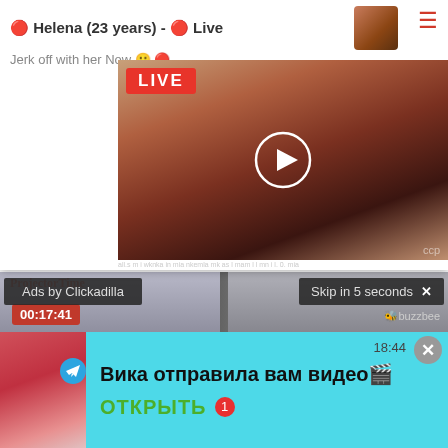[Figure (screenshot): Top popup ad overlay showing 'Helena (23 years) - Live' with a thumbnail image, hamburger menu icon, and a video thumbnail with red LIVE badge and play button]
Helena (23 years) - 🔴 Live
Jerk off with her Now 🙂 🔴
LIVE
ccp
FPAA
PROG
ANAL
[Figure (screenshot): Video player showing two people in a dark room with ProjectorTimes watermark, timestamp 00:17:41 overlaid, Ads by Clickadilla and Skip in 5 seconds controls]
Ads by Clickadilla
Skip in 5 seconds ✕
00:17:41
2
[Figure (screenshot): Telegram notification bar at bottom showing a woman image, Telegram icon, message 'Вика отправила вам видео🎬' with green ОТКРЫТЬ button, time 18:44 and red notification badge]
Вика отправила вам видео🎬
ОТКРЫТЬ
18:44
1